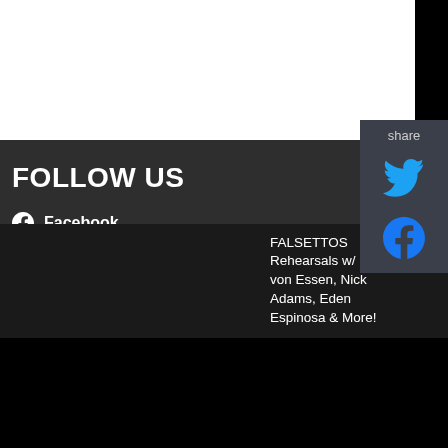FOLLOW US
Facebook
Twitter
Instagram
share
FALSETTOS Rehearsals w/ Max von Essen, Nick Adams, Eden Espinosa & More!